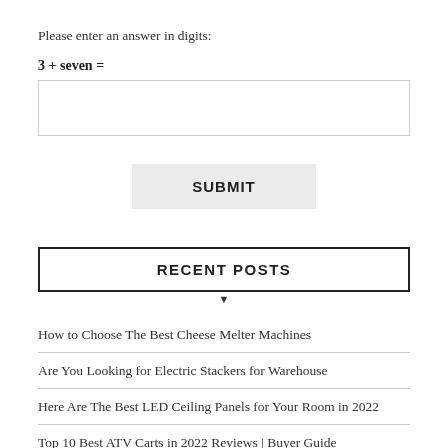Please enter an answer in digits:
RECENT POSTS
How to Choose The Best Cheese Melter Machines
Are You Looking for Electric Stackers for Warehouse
Here Are The Best LED Ceiling Panels for Your Room in 2022
Top 10 Best ATV Carts in 2022 Reviews | Buyer Guide